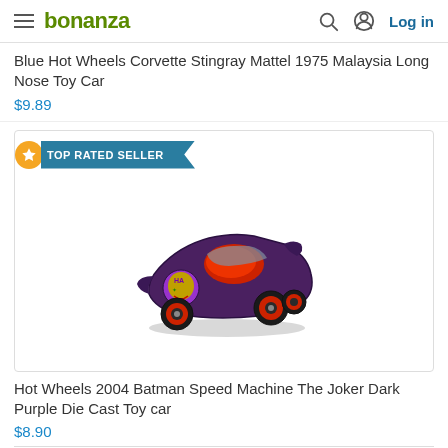bonanza — Log in
Blue Hot Wheels Corvette Stingray Mattel 1975 Malaysia Long Nose Toy Car
$9.89
[Figure (photo): Hot Wheels 2004 Batman Speed Machine The Joker Dark Purple Die Cast Toy car, shown on product card with TOP RATED SELLER badge]
Hot Wheels 2004 Batman Speed Machine The Joker Dark Purple Die Cast Toy car
$8.90